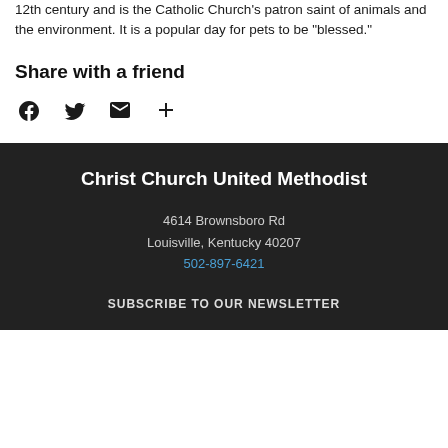12th century and is the Catholic Church's patron saint of animals and the environment. It is a popular day for pets to be "blessed."
Share with a friend
[Figure (infographic): Social sharing icons: Facebook, Twitter, Email, and More (plus sign)]
Christ Church United Methodist
4614 Brownsboro Rd
Louisville, Kentucky 40207
502-897-6421
SUBSCRIBE TO OUR NEWSLETTER